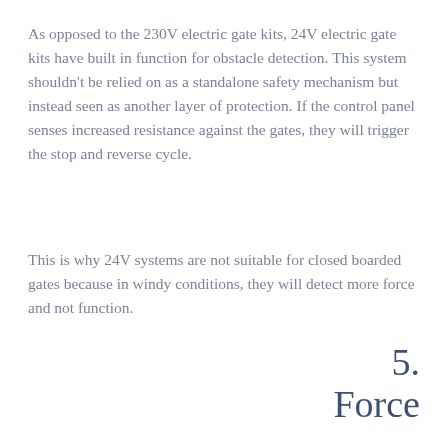As opposed to the 230V electric gate kits, 24V electric gate kits have built in function for obstacle detection. This system shouldn't be relied on as a standalone safety mechanism but instead seen as another layer of protection. If the control panel senses increased resistance against the gates, they will trigger the stop and reverse cycle.
This is why 24V systems are not suitable for closed boarded gates because in windy conditions, they will detect more force and not function.
5. Force